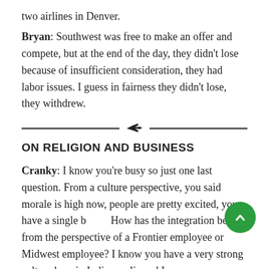two airlines in Denver.
Bryan: Southwest was free to make an offer and compete, but at the end of the day, they didn't lose because of insufficient consideration, they had labor issues. I guess in fairness they didn't lose, they withdrew.
ON RELIGION AND BUSINESS
Cranky: I know you're busy so just one last question. From a culture perspective, you said morale is high now, people are pretty excited, you have a single b... How has the integration been from the perspective of a Frontier employee or Midwest employee? I know you have a very strong culture here in Indianapolis and I